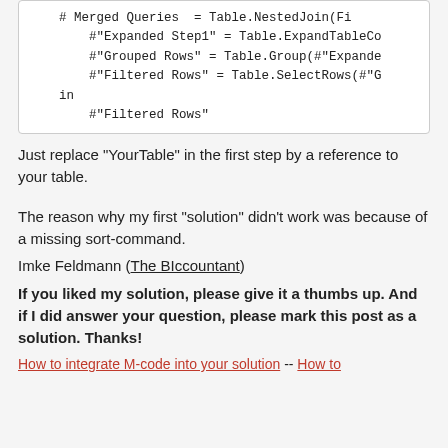# Merged Queries  = Table.NestedJoin(Fi
    #"Expanded Step1" = Table.ExpandTableCo
    #"Grouped Rows" = Table.Group(#"Expande
    #"Filtered Rows" = Table.SelectRows(#"G
in
    #"Filtered Rows"
Just replace "YourTable" in the first step by a reference to your table.
The reason why my first "solution" didn't work was because of a missing sort-command.
Imke Feldmann (The BIccountant)
If you liked my solution, please give it a thumbs up. And if I did answer your question, please mark this post as a solution. Thanks!
How to integrate M-code into your solution -- How to